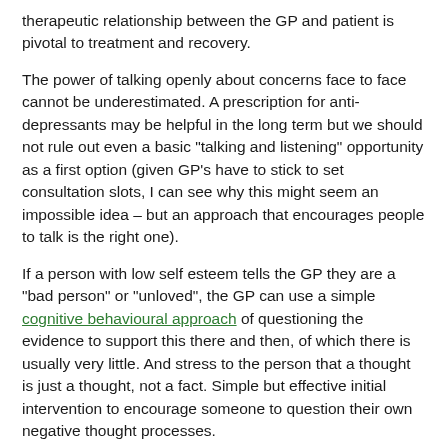therapeutic relationship between the GP and patient is pivotal to treatment and recovery.
The power of talking openly about concerns face to face cannot be underestimated. A prescription for anti-depressants may be helpful in the long term but we should not rule out even a basic "talking and listening" opportunity as a first option (given GP's have to stick to set consultation slots, I can see why this might seem an impossible idea – but an approach that encourages people to talk is the right one).
If a person with low self esteem tells the GP they are a "bad person" or "unloved", the GP can use a simple cognitive behavioural approach of questioning the evidence to support this there and then, of which there is usually very little. And stress to the person that a thought is just a thought, not a fact. Simple but effective initial intervention to encourage someone to question their own negative thought processes.